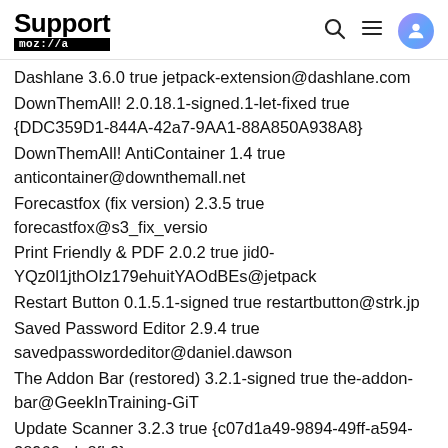Support mozilla//a
Dashlane 3.6.0 true jetpack-extension@dashlane.com
DownThemAll! 2.0.18.1-signed.1-let-fixed true {DDC359D1-844A-42a7-9AA1-88A850A938A8}
DownThemAll! AntiContainer 1.4 true anticontainer@downthemall.net
Forecastfox (fix version) 2.3.5 true forecastfox@s3_fix_versio
Print Friendly & PDF 2.0.2 true jid0-YQz0l1jthOIz179ehuitYAOdBEs@jetpack
Restart Button 0.1.5.1-signed true restartbutton@strk.jp
Saved Password Editor 2.9.4 true savedpasswordeditor@daniel.dawson
The Addon Bar (restored) 3.2.1-signed true the-addon-bar@GeekInTraining-GiT
Update Scanner 3.2.3 true {c07d1a49-9894-49ff-a594-38960ede8fb9}
WOT 20151208 true {a0d7ccb3-214d-498b-b4aa-